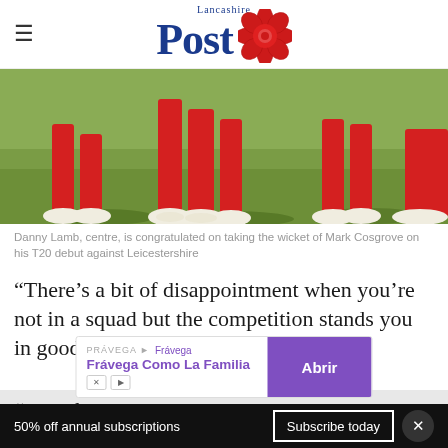Lancashire Post
[Figure (photo): Cricket players wearing red trousers and white shoes on a grass field — legs and feet visible, one player centre being congratulated on taking a wicket]
Danny Lamb, centre, is congratulated on taking the wicket of Mark Cosgrove on his T20 debut against Leicestershire
“There’s a bit of disappointment when you’re not in a squad but the competition stands you in good stead.
[Figure (other): Advertisement banner for Frávega Como La Familia with purple Abrir button]
“Hopefully the team can come together and
50% off annual subscriptions   Subscribe today